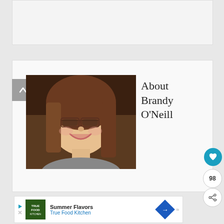[Figure (other): Top banner area, light gray background]
[Figure (photo): Photo of Brandy O'Neill, a smiling woman with long brown hair and glasses, wearing a gray top]
About Brandy O'Neill
[Figure (other): Heart/like button (teal circle with heart icon), count showing 98, and share button]
[Figure (other): Advertisement banner: True Food Kitchen - Summer Flavors]